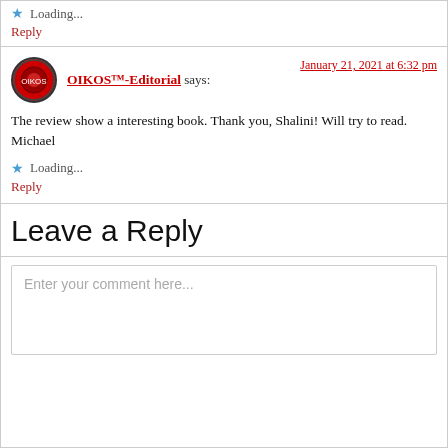Loading...
Reply
OIKOS™-Editorial says: January 21, 2021 at 6:32 pm
The review show a interesting book. Thank you, Shalini! Will try to read. Michael
Loading...
Reply
Leave a Reply
Enter your comment here...